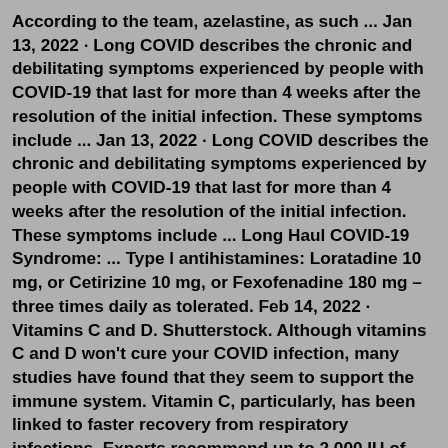According to the team, azelastine, as such ... Jan 13, 2022 · Long COVID describes the chronic and debilitating symptoms experienced by people with COVID-19 that last for more than 4 weeks after the resolution of the initial infection. These symptoms include ... Jan 13, 2022 · Long COVID describes the chronic and debilitating symptoms experienced by people with COVID-19 that last for more than 4 weeks after the resolution of the initial infection. These symptoms include ... Long Haul COVID-19 Syndrome: ... Type l antihistamines: Loratadine 10 mg, or Cetirizine 10 mg, or Fexofenadine 180 mg – three times daily as tolerated. Feb 14, 2022 · Vitamins C and D. Shutterstock. Although vitamins C and D won't cure your COVID infection, many studies have found that they seem to support the immune system. Vitamin C, particularly, has been linked to faster recovery from respiratory infections. Experts recommend up to 2,000 IU of vitamin D and 1,000mg of vitamin C daily. Mar 07, 2022 · The case report, which was published in The Journal for N...